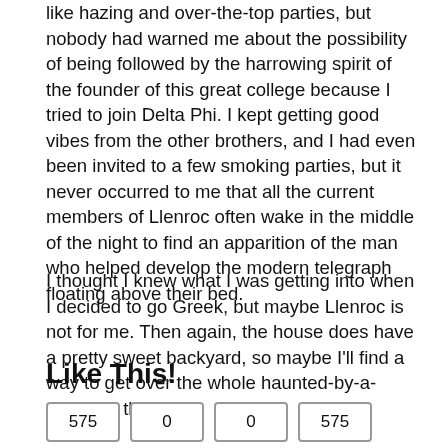like hazing and over-the-top parties, but nobody had warned me about the possibility of being followed by the harrowing spirit of the founder of this great college because I tried to join Delta Phi. I kept getting good vibes from the other brothers, and I had even been invited to a few smoking parties, but it never occurred to me that all the current members of Llenroc often wake in the middle of the night to find an apparition of the man who helped develop the modern telegraph floating above their bed.
I thought I knew what I was getting into when I decided to go Greek, but maybe Llenroc is not for me. Then again, the house does have a pretty sweet backyard, so maybe I'll find a way to get over the whole haunted-by-a-phantom thing.
Like This!
575  0  0  575